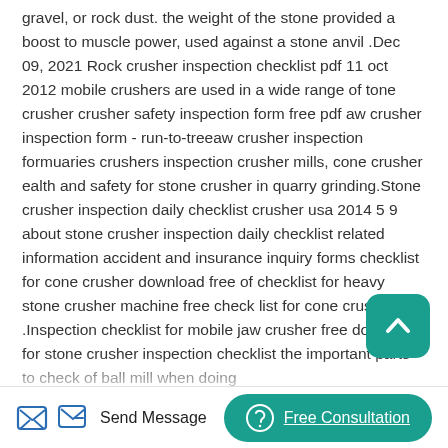gravel, or rock dust. the weight of the stone provided a boost to muscle power, used against a stone anvil .Dec 09, 2021 Rock crusher inspection checklist pdf 11 oct 2012 mobile crushers are used in a wide range of tone crusher crusher safety inspection form free pdf aw crusher inspection form - run-to-treeaw crusher inspection formuaries crushers inspection crusher mills, cone crusher ealth and safety for stone crusher in quarry grinding.Stone crusher inspection daily checklist crusher usa 2014 5 9 about stone crusher inspection daily checklist related information accident and insurance inquiry forms checklist for cone crusher download free of checklist for heavy stone crusher machine free check list for cone crusher .Inspection checklist for mobile jaw crusher free download for stone crusher inspection checklist the important parts to check of ball mill when doing inspection scheduled preventive maintenance checklist grinding
[Figure (other): Teal/green rounded square scroll-to-top button with upward chevron icon]
Send Message   Free Consultation